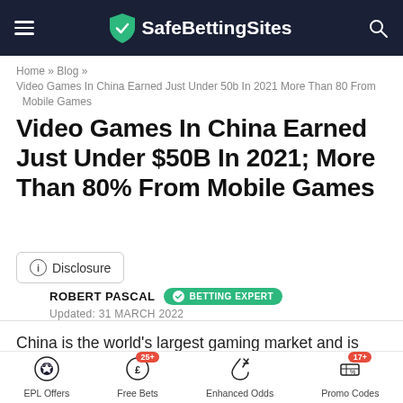SafeBettingSites
Home » Blog » Video Games In China Earned Just Under 50b In 2021 More Than 80 From Mobile Games
Video Games In China Earned Just Under $50B In 2021; More Than 80% From Mobile Games
Disclosure
ROBERT PASCAL  BETTING EXPERT  Updated: 31 MARCH 2022
China is the world's largest gaming market and is getting closer to an important milestone. According to data
EPL Offers  Free Bets 25+  Enhanced Odds  Promo Codes 17+